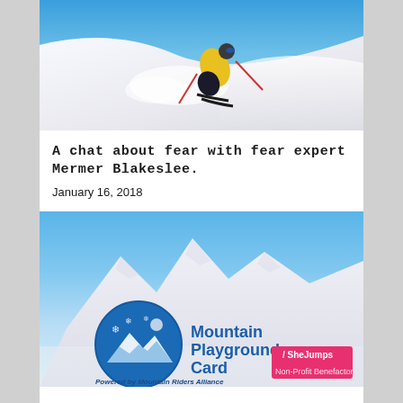[Figure (photo): Skier in yellow jacket carving through powder snow on a steep slope with blue sky background]
A chat about fear with fear expert Mermer Blakeslee.
January 16, 2018
[Figure (photo): Mountain Playground Card advertisement with snowy mountain background, circular blue logo with snowflakes and mountains, SheJumps logo in pink, text: Powered by Mountain Riders Alliance, Non-Profit Benefactor]